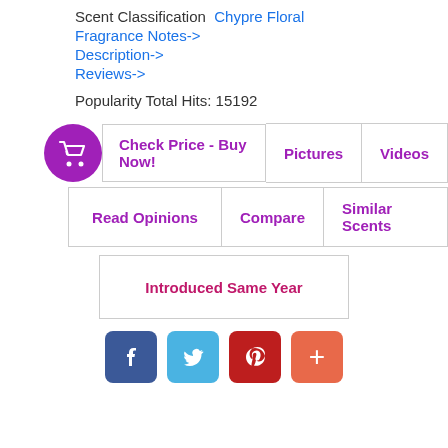Scent Classification  Chypre Floral
Fragrance Notes->
Description->
Reviews->
Popularity Total Hits: 15192
[Figure (infographic): Row of buttons: cart icon + Check Price - Buy Now!, Pictures, Videos]
[Figure (infographic): Row of buttons: Read Opinions, Compare, Similar Scents]
[Figure (infographic): Button: Introduced Same Year]
[Figure (infographic): Social share buttons: Facebook (blue), Twitter (light blue), Pinterest (red), Plus/Other (orange)]